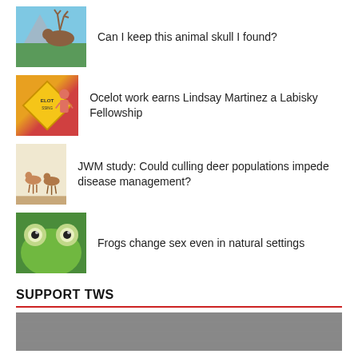Can I keep this animal skull I found?
Ocelot work earns Lindsay Martinez a Labisky Fellowship
JWM study: Could culling deer populations impede disease management?
Frogs change sex even in natural settings
SUPPORT TWS
[Figure (other): Support TWS banner with text 'LEADING BY EXAMPLE']